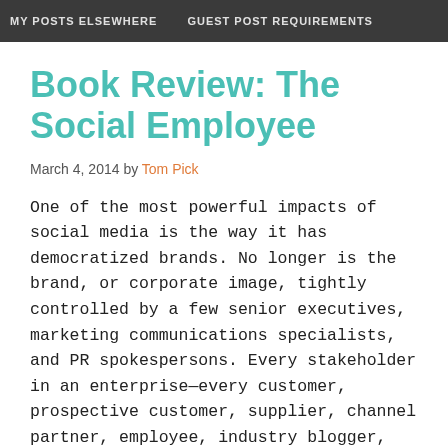MY POSTS ELSEWHERE   GUEST POST REQUIREMENTS
Book Review: The Social Employee
March 4, 2014 by Tom Pick
One of the most powerful impacts of social media is the way it has democratized brands. No longer is the brand, or corporate image, tightly controlled by a few senior executives, marketing communications specialists, and PR spokespersons. Every stakeholder in an enterprise—every customer, prospective customer, supplier, channel partner, employee, industry blogger, shareholder—has a voice. Those voices collectively shape the brand.